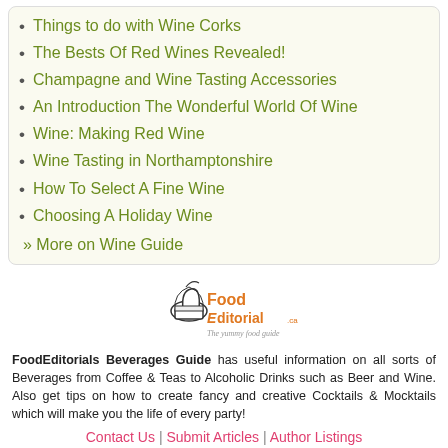Things to do with Wine Corks
The Bests Of Red Wines Revealed!
Champagne and Wine Tasting Accessories
An Introduction The Wonderful World Of Wine
Wine: Making Red Wine
Wine Tasting in Northamptonshire
How To Select A Fine Wine
Choosing A Holiday Wine
» More on Wine Guide
[Figure (logo): FoodEditorial logo — chef hat icon with FoodEditorial text and tagline 'The yummy food guide']
FoodEditorials Beverages Guide has useful information on all sorts of Beverages from Coffee & Teas to Alcoholic Drinks such as Beer and Wine. Also get tips on how to create fancy and creative Cocktails & Mocktails which will make you the life of every party!
Contact Us | Submit Articles | Author Listings
© 2022 Streetdirectory & Foodeditorials